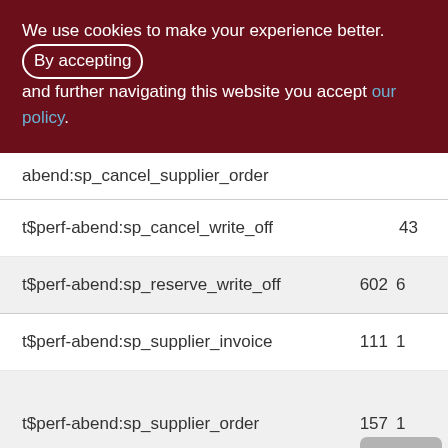We use cookies to make your experience better. By accepting and further navigating this website you accept our policy.
| Name | Value1 | Value2 |
| --- | --- | --- |
| abend:sp_cancel_supplier_order |  |  |
| t$perf-abend:sp_cancel_write_off | 43 |  |
| t$perf-abend:sp_reserve_write_off | 602 | 6 |
| t$perf-abend:sp_supplier_invoice | 111 | 1 |
| t$perf-abend:sp_supplier_order | 157 | 1 |
| t$perf-norm:sp_add_invoice_to_stock | 12021 | 120 |